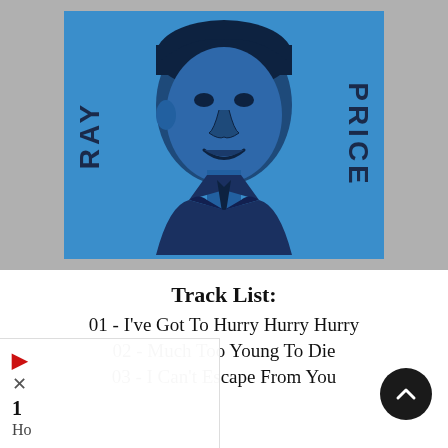[Figure (illustration): Ray Price album cover with blue background. Portrait photo of Ray Price (man in suit) in center. Text 'RAY' vertically on left side and 'PRICE' vertically on right side, both in dark navy bold letters. Album cover sits on a gray background.]
Track List:
01 - I've Got To Hurry Hurry Hurry
02 - Much Too Young To Die
03 - I Can't Escape From You